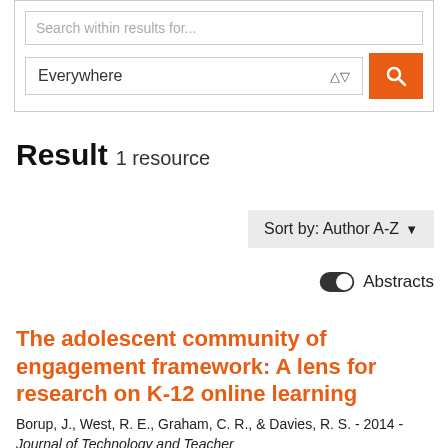[Figure (screenshot): Search interface with 'Search within results for...' input field, an 'Everywhere' dropdown selector, and an orange search button with magnifying glass icon]
Result  1 resource
Sort by: Author A-Z
Abstracts
The adolescent community of engagement framework: A lens for research on K-12 online learning
Borup, J., West, R. E., Graham, C. R., & Davies, R. S. - 2014 - Journal of Technology and Teacher